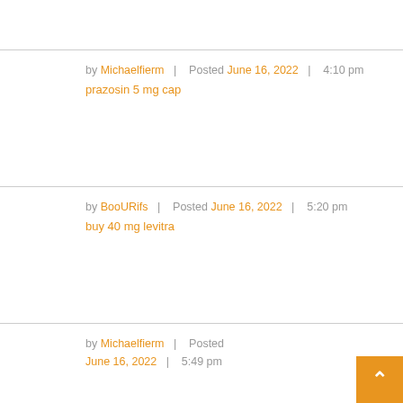by Michaelfierm | Posted June 16, 2022 | 4:10 pm
prazosin 5 mg cap
by BooURifs | Posted June 16, 2022 | 5:20 pm
buy 40 mg levitra
by Michaelfierm | Posted June 16, 2022 | 5:49 pm